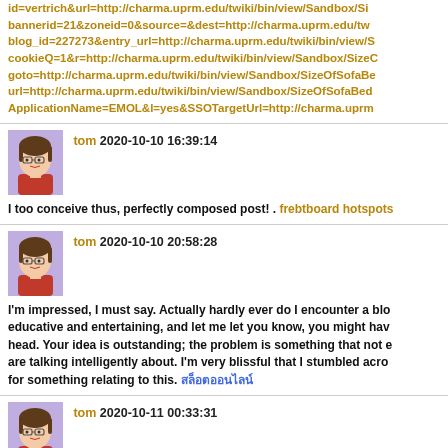id=vertrich&url=http://charma.uprm.edu/twiki/bin/view/Sandbox/SizeOfSofaBed
bannerid=21&zoneid=0&source=&dest=http://charma.uprm.edu/twiki/bin/view/Sandbox/
blog_id=227273&entry_url=http://charma.uprm.edu/twiki/bin/view/Sandbox/S
cookieQ=1&r=http://charma.uprm.edu/twiki/bin/view/Sandbox/SizeOfSofaC
goto=http://charma.uprm.edu/twiki/bin/view/Sandbox/SizeOfSofaBe
url=http://charma.uprm.edu/twiki/bin/view/Sandbox/SizeOfSofaBed
ApplicationName=EMOL&l=yes&SSOTargetUrl=http://charma.uprm
[Figure (illustration): Cartoon avatar of a woman with glasses and a pink/red top, purple background]
tom 2020-10-10 16:39:14
I too conceive thus, perfectly composed post! . frebtboard hotspots
[Figure (illustration): Cartoon avatar of a woman with glasses and a pink/red top, purple background]
tom 2020-10-10 20:58:28
I'm impressed, I must say. Actually hardly ever do I encounter a blog that's both educative and entertaining, and let me let you know, you might have hit the nail on the head. Your idea is outstanding; the problem is something that not enough people are talking intelligently about. I'm very blissful that I stumbled across this in my search for something relating to this. สล็อตออนไลน์
[Figure (illustration): Cartoon avatar of a woman with glasses and a pink/red top, purple background]
tom 2020-10-11 00:33:31
I see something genuinely special in this website. . security firms